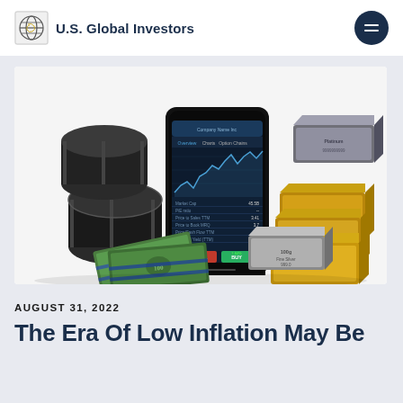U.S. Global Investors
[Figure (photo): A composite image showing a smartphone displaying a stock trading app with charts, surrounded by oil barrels, stacks of US dollar bills, silver bars, gold bars, and a platinum bar — representing various investment asset classes.]
AUGUST 31, 2022
The Era Of Low Inflation May Be